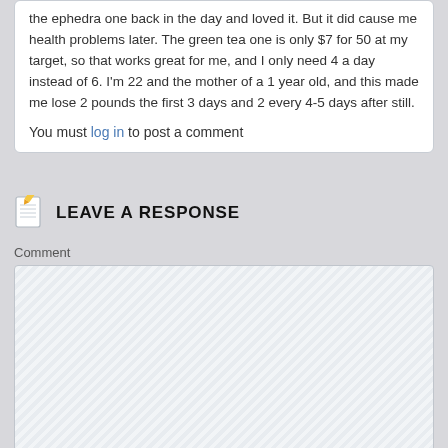the ephedra one back in the day and loved it. But it did cause me health problems later. The green tea one is only $7 for 50 at my target, so that works great for me, and I only need 4 a day instead of 6. I'm 22 and the mother of a 1 year old, and this made me lose 2 pounds the first 3 days and 2 every 4-5 days after still.
You must log in to post a comment
LEAVE A RESPONSE
Comment